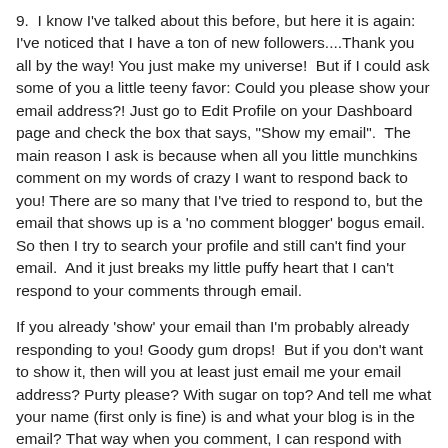9.  I know I've talked about this before, but here it is again: I've noticed that I have a ton of new followers....Thank you all by the way! You just make my universe!  But if I could ask some of you a little teeny favor: Could you please show your email address?! Just go to Edit Profile on your Dashboard page and check the box that says, "Show my email".  The main reason I ask is because when all you little munchkins comment on my words of crazy I want to respond back to you! There are so many that I've tried to respond to, but the email that shows up is a 'no comment blogger' bogus email.  So then I try to search your profile and still can't find your email.  And it just breaks my little puffy heart that I can't respond to your comments through email.
If you already 'show' your email than I'm probably already responding to you! Goody gum drops!  But if you don't want to show it, then will you at least just email me your email address? Purty please? With sugar on top? And tell me what your name (first only is fine) is and what your blog is in the email? That way when you comment, I can respond with such words of wisdom that it'll send you off your rocker!